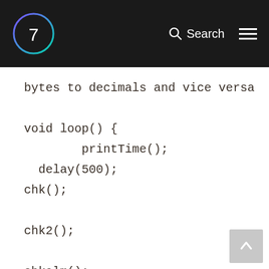7 Search ≡
bytes to decimals and vice versa
void loop() {
        printTime();
  delay(500);
chk();
chk2();
chkalm();
}
void chkalm(){
    if(fhour==hour){
      if(fminute==minute){